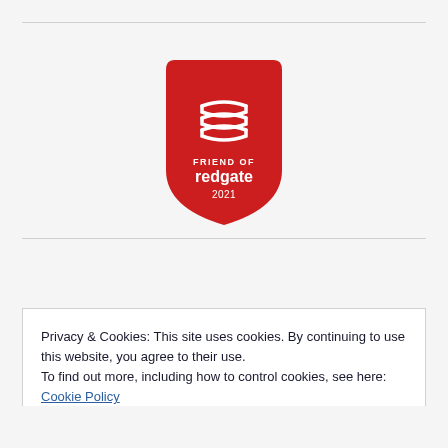[Figure (logo): Friend of Redgate 2021 badge — red shield shape with white stacked-layers icon, text 'FRIEND OF redgate 2021']
Privacy & Cookies: This site uses cookies. By continuing to use this website, you agree to their use.
To find out more, including how to control cookies, see here: Cookie Policy
Close and accept